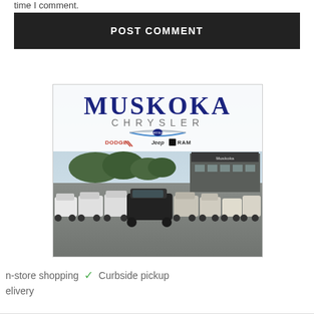time I comment.
[Figure (screenshot): POST COMMENT button — dark/black rectangular button with white bold text]
[Figure (photo): Muskoka Chrysler dealership photo showing the dealership lot with cars parked, the building in background, and the logo overlay showing MUSKOKA CHRYSLER with Dodge, Jeep, RAM brand logos]
n-store shopping  ✓  Curbside pickup  elivery